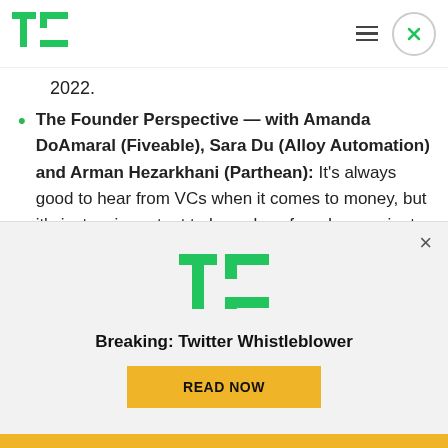TechCrunch logo header with hamburger menu and close button
2022.
The Founder Perspective — with Amanda DoAmaral (Fiveable), Sara Du (Alloy Automation) and Arman Hezarkhani (Parthean): It's always good to hear from VCs when it comes to money, but it's just as important to know how founders navigate the capital market. These three founders will talk us through
[Figure (logo): TechCrunch TC logo (green) in advertisement banner]
Breaking: Twitter Whistleblower
READ NOW